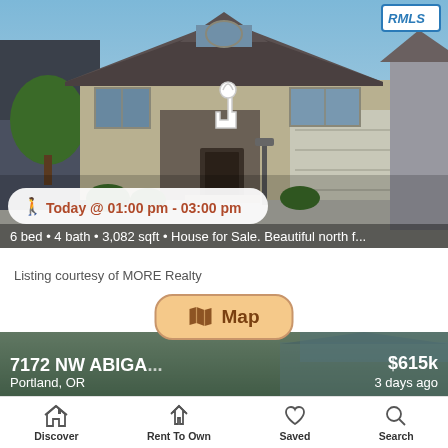[Figure (photo): Exterior photo of a two-story suburban house with gray/tan siding, stone facade, and attached garage. Trees visible on the left. Blue sky background. RMLS badge in upper right. A pointing hand cursor icon in the center of the image. Open house banner overlay at the bottom showing 'Today @ 01:00 pm - 03:00 pm'. Property description text at the bottom.]
6 bed • 4 bath • 3,082 sqft • House for Sale. Beautiful north f...
Listing courtesy of MORE Realty
[Figure (screenshot): Map button overlay - orange/tan rounded button with map icon and 'Map' label]
[Figure (photo): Second property listing card showing '7172 NW ABIGA...' in Portland, OR, priced at $615k, listed 3 days ago]
Discover  Rent To Own  Saved  Search